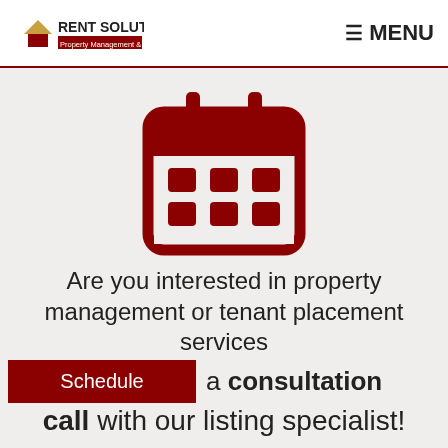RENT SOLUTIONS Property Management & Leasing | MENU
[Figure (illustration): Calendar icon in dark red/maroon color on light gray background. A rounded rectangle calendar with two tabs on top, a header band, and a grid of 6 rounded squares (2 rows of 3) representing dates.]
Are you interested in property management or tenant placement services
Schedule  a consultation call with our listing specialist!